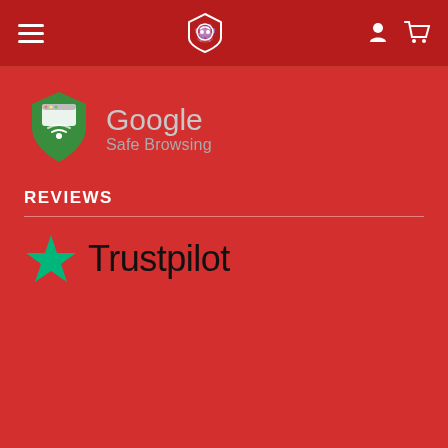Gamers Hideout navigation bar with hamburger menu, logo, user and cart icons
[Figure (logo): Google Safe Browsing logo — green shield with white browser icon and WiFi symbol, next to 'Google Safe Browsing' text in grey]
REVIEWS
[Figure (logo): Trustpilot logo — green star followed by 'Trustpilot' text in black]
Copyright 2022 © GAMERS HIDEOUT SDN BHD S 200501014996 (692043-U)